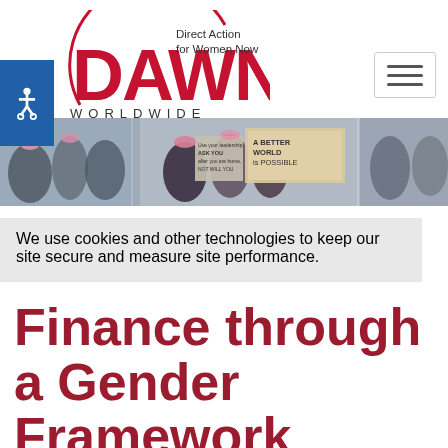[Figure (logo): DAWN Worldwide logo — red arc and DAWN text, with 'Direct Action for Women Now' and 'WORLDWIDE' text]
[Figure (photo): Wide hero photo of women at a march/protest, holding signs including 'A Better World is Possible' and 'Use your leadership, ASK YOU after you are home, NOT WILL YOU']
We use cookies and other technologies to keep our site secure and measure site performance.
Finance through a Gender Framework